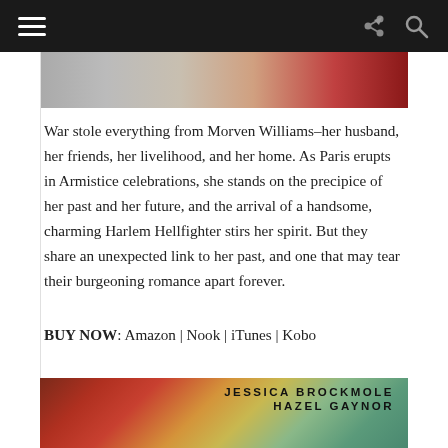[Figure (photo): Top portion of a book cover image showing red and grey tones, partially cropped]
War stole everything from Morven Williams–her husband, her friends, her livelihood, and her home. As Paris erupts in Armistice celebrations, she stands on the precipice of her past and her future, and the arrival of a handsome, charming Harlem Hellfighter stirs her spirit. But they share an unexpected link to her past, and one that may tear their burgeoning romance apart forever.
BUY NOW: Amazon | Nook | iTunes | Kobo
[Figure (photo): Book cover image showing red flowers against a muted background with authors' names: JESSICA BROCKMOLE and HAZEL GAYNOR]